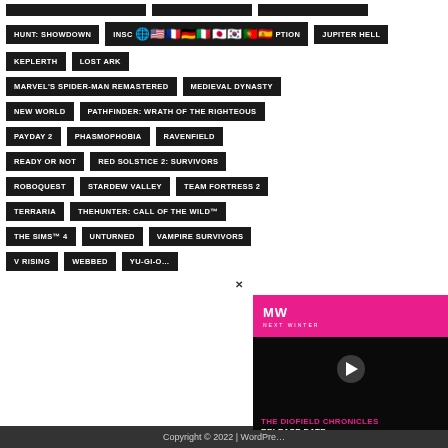HUNT: SHOWDOWN
INSCRIPTION
JUPITER HELL
KEPLERTH
LOST ARK
MARVEL'S SPIDER-MAN REMASTERED
MEDIEVAL DYNASTY
NEW WORLD
PATHFINDER: WRATH OF THE RIGHTEOUS
PAYDAY 2
PHASMOPHOBIA
RAVENFIELD
READY OR NOT
RED SOLSTICE 2: SURVIVORS
ROBOQUEST
STARDEW VALLEY
TEAM FORTRESS 2
TERRARIA
THEHUNTER: CALL OF THE WILD™
THE SIMS™ 4
UNTURNED
VAMPIRE SURVIVORS
V RISING
WEBBED
YU-GI-O…
[Figure (screenshot): Advertisement overlay for 'The DioField Chronicles Release Date' video on Next Winter / MW channel, with pink branding and play button]
Copyright © 2022 | WordPress